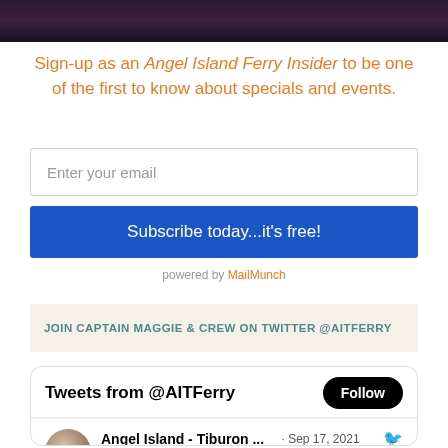[Figure (photo): Dark purple/maroon textured background image at top of page (partial, cropped)]
Sign-up as an Angel Island Ferry Insider to be one of the first to know about specials and events.
Enter your email
Subscribe today...it's free!
powered by MailMunch
JOIN CAPTAIN MAGGIE & CREW ON TWITTER @AITFERRY
Tweets from @AITFerry
Angel Island - Tiburon ...  · Sep 17, 2021  YES! @BlueAngels Air Shows are  a